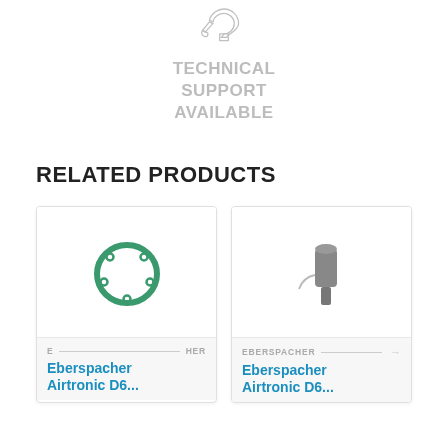[Figure (illustration): Hand/wrench icon in light gray outline style]
TECHNICAL SUPPORT AVAILABLE
RELATED PRODUCTS
[Figure (photo): Eberspacher Airtronic D6 green gasket ring part]
EBERSPACHER
Eberspacher Airtronic D6...
[Figure (photo): Eberspacher Airtronic D6 glow plug / igniter part]
EBERSPACHER
Eberspacher Airtronic D6...